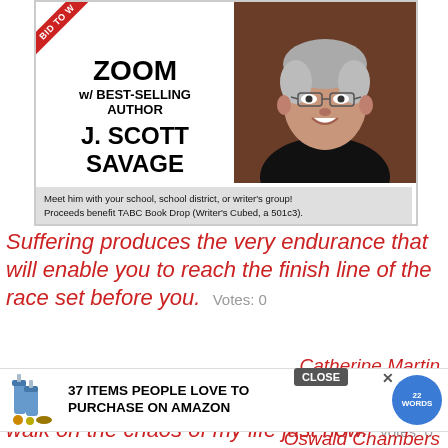[Figure (infographic): Auction advertisement for a Zoom meeting with best-selling author J. Scott Savage. Contains a red diagonal ribbon with 'BID TO W[IN]', text 'ZOOM w/ BEST-SELLING AUTHOR J. SCOTT SAVAGE', a photo of a smiling middle-aged man with gray hair and glasses wearing a black shirt, and a caption: 'Meet him with your school, school district, or writer's group! Proceeds benefit TABC Book Drop (Writer's Cubed, a 501c3).']
Suffering produces the very endurance that will enable you to reach the finish line of the race set before you.   Votes: 0
Catherine Martin
[Figure (infographic): Advertisement overlay banner: '37 ITEMS PEOPLE LOVE TO PURCHASE ON AMAZON' with product images and 22 Words logo. Includes a CLOSE button and an X button.]
God's ... can walk on the chaos of my life just now.   votes: 0
Oswald Chambers